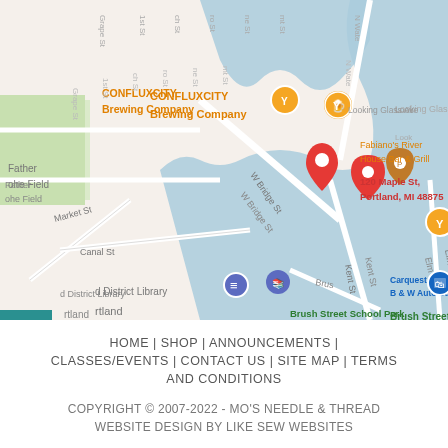[Figure (map): Google Maps screenshot showing 120 Maple St, Portland, MI 48875. The map shows streets including Market St, Canal St, Kent St, Elm St, W Bridge St, and landmarks including Confluxcity Brewing Company, Fabiano's River House Bar & Grill, d District Library, Carquest Auto Parts - B & W Auto Supply, Brush Street School Park. A red location pin marks 120 Maple St, Portland, MI 48875.]
HOME  |  SHOP  |  ANNOUNCEMENTS  |  CLASSES/EVENTS  |  CONTACT US  |  SITE MAP  |  TERMS AND CONDITIONS
COPYRIGHT © 2007-2022 - MO'S NEEDLE & THREAD
WEBSITE DESIGN BY LIKE SEW WEBSITES